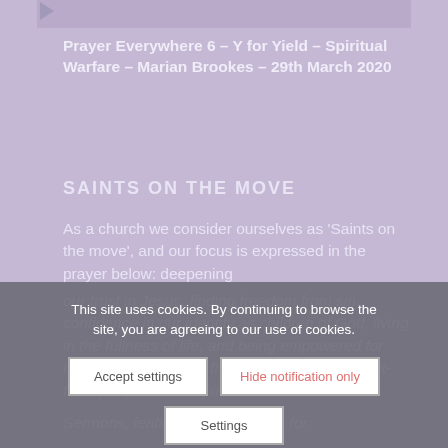[Figure (screenshot): Top portion of a media card with play button icon on lavender/purple background]
Prayer Everywhere 6 – Y for Yield – Spiritual Warfare – Marian Brookes – 29th March 2020
SAINTS ON THE MOVE
As a church we consider ourselves as 'Saints on the move', and our focus is expressed in the prayer below: deepening our trust in Jesus, finding freedom from sin, confidence in our identity as children of God, living in the fullness of life, and being empowered for mission to be strong, fruitful, evangelistic, Spirit-filled people of the Spirit.
Sermons, leaflets and resources for
This site uses cookies. By continuing to browse the site, you are agreeing to our use of cookies.